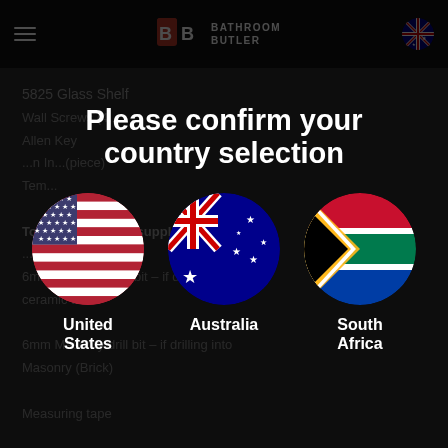Bathroom Butler
5825 Glass Shelf
Wall Screws (4...
Allen Key
...n In...(piece)
Tem...
Tools needed (not supplied):
...Drill bits...
6mm Diamond drill bit – if drilling through ceramic tiles
6mm Masonry drill bit – if drilling into Masonry (Brick)
Measuring tape
Please confirm your country selection
[Figure (infographic): Three circular flag icons in a row: United States flag (stars and stripes), Australia flag (blue with Union Jack and stars), South Africa flag (Y-shaped design). Below each flag is its country name label: United States, Australia, South Africa.]